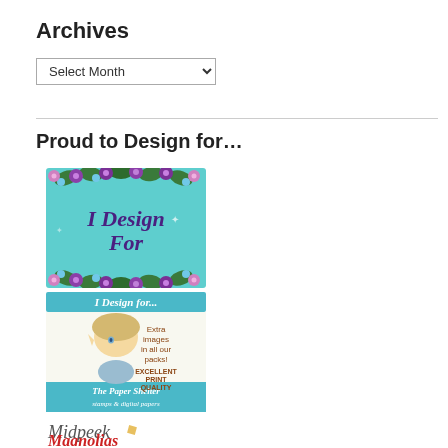Archives
Select Month
Proud to Design for…
[Figure (illustration): I Design For badge with purple flowers on teal background]
[Figure (illustration): The Paper Shelter I Design for... badge with fairy/elf girl illustration]
[Figure (illustration): Midpeek Magnolias logo text]